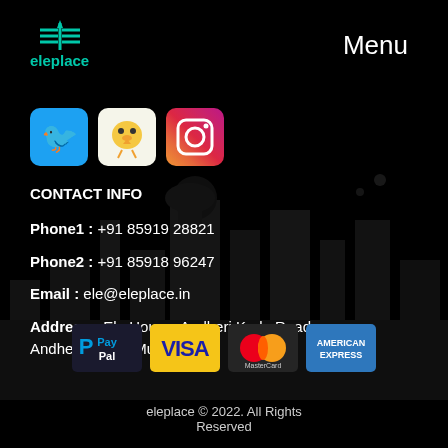[Figure (logo): Eleplace logo with teal icon and teal text 'eleplace']
Menu
[Figure (infographic): Social media icons: Twitter (blue bird), Peach (yellow bird), Instagram (pink/purple camera)]
CONTACT INFO
Phone1 : +91 85919 28821
Phone2 : +91 85918 96247
Email : ele@eleplace.in
Address : Ele House, Andheri Kurla Road, Andheri (East), Mumbai
[Figure (infographic): Payment method icons: PayPal, Visa, MasterCard, American Express]
eleplace © 2022. All Rights Reserved